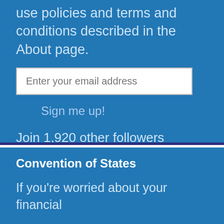use policies and terms and conditions described in the About page.
Enter your email address
Sign me up!
Join 1,920 other followers
Convention of States
If you're worried about your financial future, you should know about the